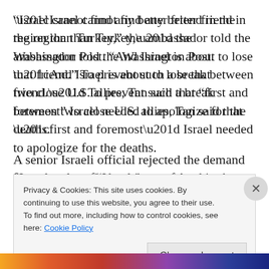“Israel cannot find any better friend in the region than Turkey,” the ambassador told the Washington Post. “And Israel is about to lose that friend.” To prevent such a break between two close U.S. allies, Tan said that “first and foremost” Israel needed to apologize for the deaths.
A senior Israeli official rejected the demand for an apology. “Israel is not going to apologize for defending ourselves,” he said. “Our soldiers are not going to apologize for
Privacy & Cookies: This site uses cookies. By continuing to use this website, you agree to their use.
To find out more, including how to control cookies, see here: Cookie Policy